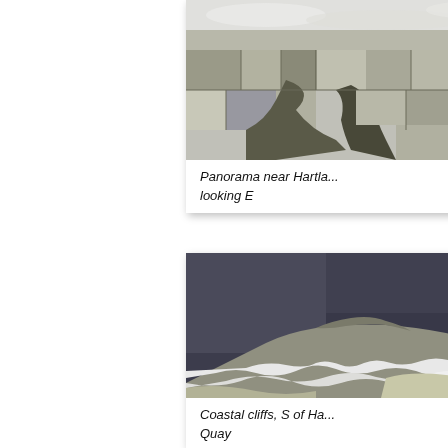[Figure (photo): Aerial black and white photograph of farmland and fields near Hartland, looking East. Shows a patchwork of agricultural fields, hedgerows, a winding river or stream through wooded areas, and a small settlement in the distance.]
Panorama near Hartla... looking E
[Figure (photo): Aerial black and white photograph of coastal cliffs south of Hartland Quay. Shows dark sea, rocky coastline with white surf, and coastal cliffs.]
Coastal cliffs, S of Ha... Quay